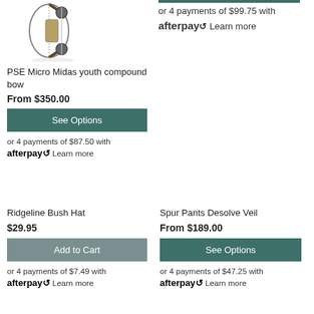[Figure (photo): Partial image of a PSE compound bow (youth), showing pulleys and strings against white background]
PSE Micro Midas youth compound bow
From $350.00
See Options
or 4 payments of $87.50 with afterpay Learn more
or 4 payments of $99.75 with afterpay Learn more
Ridgeline Bush Hat
$29.95
Add to Cart
or 4 payments of $7.49 with afterpay Learn more
Spur Pants Desolve Veil
From $189.00
See Options
or 4 payments of $47.25 with afterpay Learn more